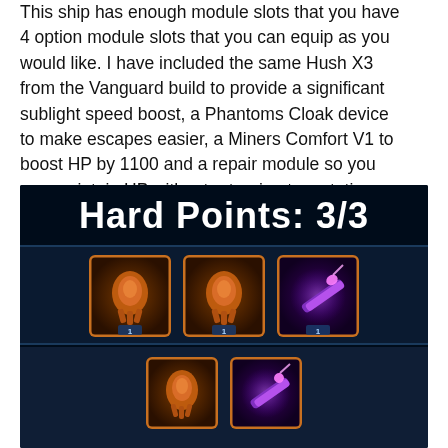This ship has enough module slots that you have 4 option module slots that you can equip as you would like. I have included the same Hush X3 from the Vanguard build to provide a significant sublight speed boost, a Phantoms Cloak device to make escapes easier, a Miners Comfort V1 to boost HP by 1100 and a repair module so you can maintain HP without returning to a station.
[Figure (screenshot): In-game UI screenshot showing ship hard points 3/3 with three equipped weapon/module icons in the top row and two partially visible icons in the bottom row, on a dark navy background.]